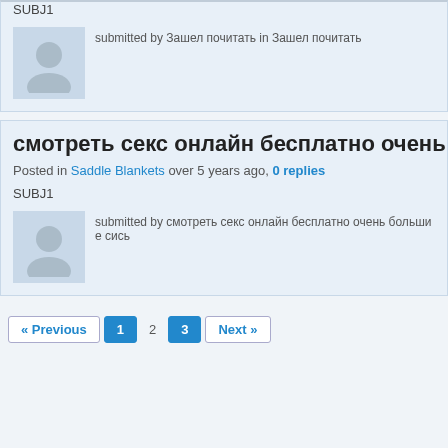SUBJ1
submitted by Зашел почитать in Зашел почитать
смотреть секс онлайн бесплатно очень
Posted in Saddle Blankets over 5 years ago, 0 replies
SUBJ1
submitted by смотреть секс онлайн бесплатно очень большие сись
« Previous  1  2  3  Next »